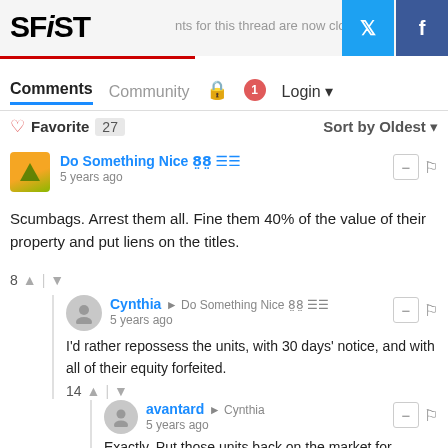SFiST — Comments for this thread are now closed
Comments  Community  Login
♡ Favorite 27   Sort by Oldest
Do Something Nice 8̰8̰ ☰☰
5 years ago
Scumbags. Arrest them all. Fine them 40% of the value of their property and put liens on the titles.
8 ▲ | ▼
Cynthia → Do Something Nice 8̰8̰ ☰☰
5 years ago
I'd rather repossess the units, with 30 days' notice, and with all of their equity forfeited.
14 ▲ | ▼
avantard → Cynthia
5 years ago
Exactly. Put those units back on the market for